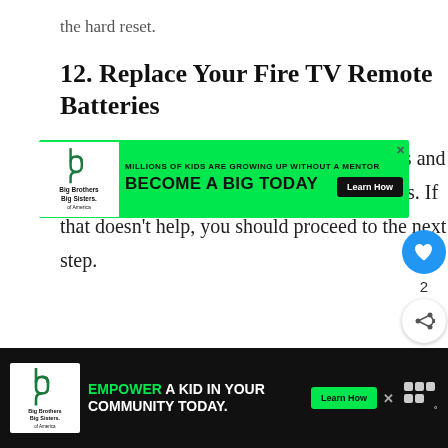the hard reset.
12. Replace Your Fire TV Remote Batteries
This is simple. You remove the old batteries and replace them with fresh, brand new batteries. If that doesn't help, you should proceed to the next step.
[Figure (other): Advertisement banner: Big Brothers Big Sisters of America. Text: MILLIONS OF KIDS ARE GROWING UP WITHOUT A MENTOR. BECOME A BIG TODAY. Learn How button.]
[Figure (other): Bottom advertisement bar on black background: Big Brothers Big Sisters logo. EMPOWER A KID IN YOUR COMMUNITY TODAY. Learn How button. Close button.]